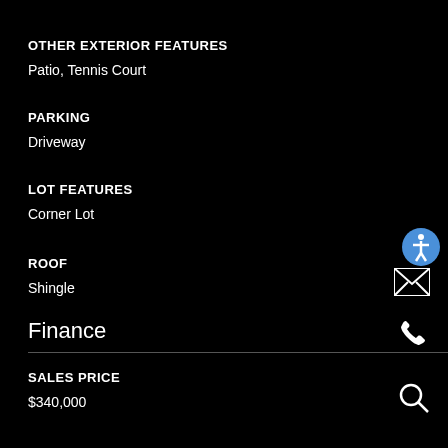OTHER EXTERIOR FEATURES
Patio, Tennis Court
PARKING
Driveway
LOT FEATURES
Corner Lot
ROOF
Shingle
Finance
SALES PRICE
$340,000